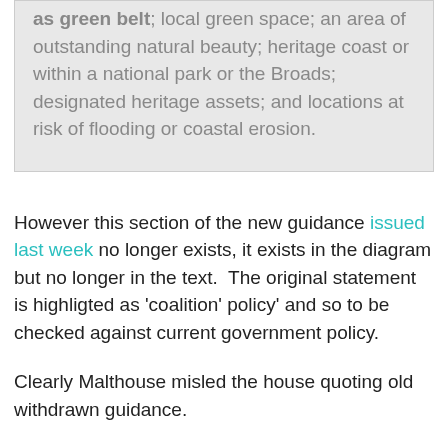as green belt; local green space; an area of outstanding natural beauty; heritage coast or within a national park or the Broads; designated heritage assets; and locations at risk of flooding or coastal erosion.
However this section of the new guidance issued last week no longer exists, it exists in the diagram but no longer in the text.  The original statement is highligted as 'coalition' policy' and so to be checked against current government policy.
Clearly Malthouse misled the house quoting old withdrawn guidance.
Even if it was withdrawn by mistake and was an editing